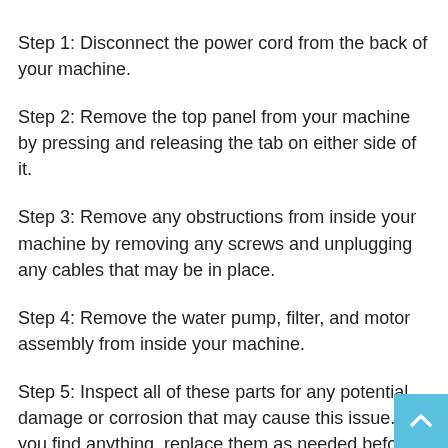Step 1: Disconnect the power cord from the back of your machine.
Step 2: Remove the top panel from your machine by pressing and releasing the tab on either side of it.
Step 3: Remove any obstructions from inside your machine by removing any screws and unplugging any cables that may be in place.
Step 4: Remove the water pump, filter, and motor assembly from inside your machine.
Step 5: Inspect all of these parts for any potential damage or corrosion that may cause this issue. If you find anything, replace them as needed before proceeding to step 6 below.